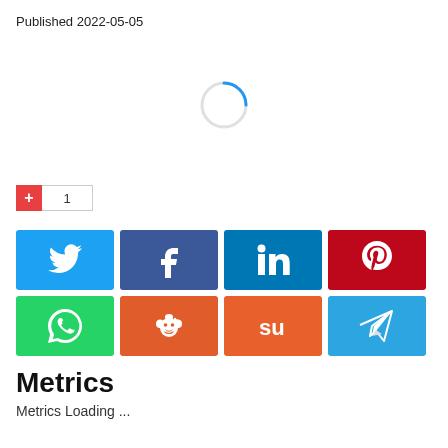Published 2022-05-05
[Figure (infographic): Loading spinner — partial circle arc in light blue on gray stroke, indicating content is loading]
[Figure (infographic): Red plus button with count of 1 (social sharing +1 button)]
[Figure (infographic): Social sharing buttons grid: Twitter (blue bird), Facebook (blue f), LinkedIn (blue in), Pinterest (red p), WhatsApp (green phone), Reddit (orange alien), StumbleUpon (orange su), Telegram (blue paper plane)]
Metrics
Metrics Loading ...